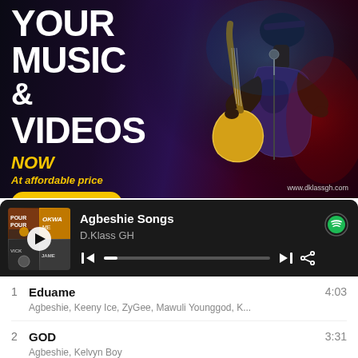[Figure (illustration): Music promotion banner ad with dark background, guitarist performing live on right side, bold white text 'YOUR MUSIC & VIDEOS', yellow text 'NOW At affordable price', yellow GET STARTED button, website URL www.dklassgh.com]
[Figure (screenshot): Spotify-style music player showing 'Agbeshie Songs' playlist by D.Klass GH with album art grid, playback controls and progress bar, Spotify logo]
1  Eduame  4:03
Agbeshie, Keeny Ice, ZyGee, Mawuli Younggod, K...
2  GOD  3:31
Agbeshie, Kelvyn Boy
3  WrowroHo  3:12